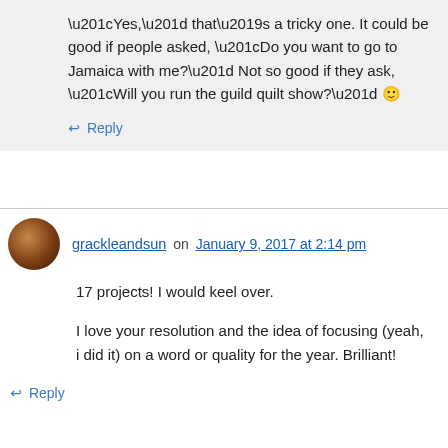“Yes,” that’s a tricky one. It could be good if people asked, “Do you want to go to Jamaica with me?” Not so good if they ask, “Will you run the guild quilt show?” 🙂
↔ Reply
grackleandsun on January 9, 2017 at 2:14 pm
17 projects! I would keel over.
I love your resolution and the idea of focusing (yeah, i did it) on a word or quality for the year. Brilliant!
↔ Reply